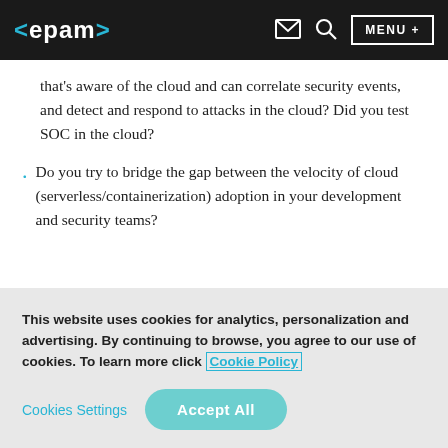<epam> [email icon] [search icon] MENU +
that's aware of the cloud and can correlate security events, and detect and respond to attacks in the cloud? Did you test SOC in the cloud?
Do you try to bridge the gap between the velocity of cloud (serverless/containerization) adoption in your development and security teams?
This website uses cookies for analytics, personalization and advertising. By continuing to browse, you agree to our use of cookies. To learn more click Cookie Policy
Cookies Settings   Accept All